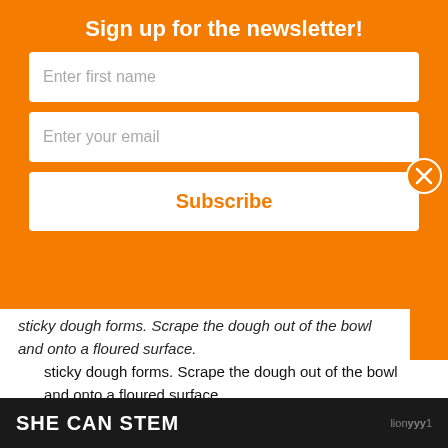Sign up for the newsletter!
Enter first name
Enter your email
Subscribe
sticky dough forms. Scrape the dough out of the bowl and onto a floured surface.
3. Knead the dough for 1 to 10 minutes, sprinkling more flour as needed to keep the dough from sticking too much. Avoid adding too much flour or the dough will become too stiff. Knead for a longer time for a smooth, elastic dough; the bread will be of finer quality. However, if you're pressed for time, just a short period of kneading is fine; the bread will still be pretty good.
4. Place the dough back into the mixing bowl and
SHE CAN STEM